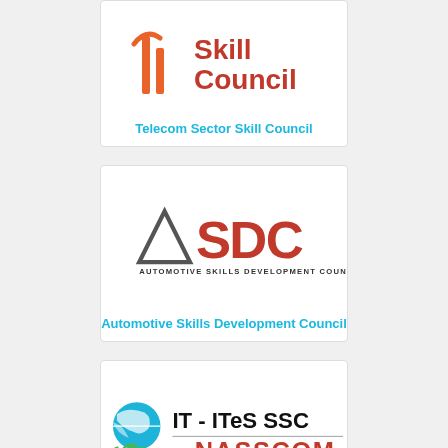[Figure (logo): Telecom Sector Skill Council logo with orange/red antenna icon and red text 'Skill Council']
Telecom Sector Skill Council
[Figure (logo): ASDC Automotive Skills Development Council logo with grey triangle/A and red SDC letters]
Automotive Skills Development Council
[Figure (logo): IT-ITeS SSC NASSCOM logo with globe and figure icon, black IT-ITeS SSC text and red NASSCOM text]
IT/ITeS Sector Skills Council NASSCOM